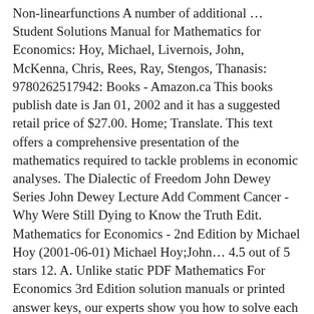Non-linearfunctions A number of additional … Student Solutions Manual for Mathematics for Economics: Hoy, Michael, Livernois, John, McKenna, Chris, Rees, Ray, Stengos, Thanasis: 9780262517942: Books - Amazon.ca This books publish date is Jan 01, 2002 and it has a suggested retail price of $27.00. Home; Translate. This text offers a comprehensive presentation of the mathematics required to tackle problems in economic analyses. The Dialectic of Freedom John Dewey Series John Dewey Lecture Add Comment Cancer - Why Were Still Dying to Know the Truth Edit. Mathematics for Economics - 2nd Edition by Michael Hoy (2001-06-01) Michael Hoy;John… 4.5 out of 5 stars 12. A. Unlike static PDF Mathematics For Economics 3rd Edition solution manuals or printed answer keys, our experts show you how to solve each problem step-by-step. Additionally, lengthier proofs and examples are provided on the book's website. 5.0 out of 5 stars 3. Download File PDF Mathematics For Economics Hoy 3rd Edition for reader. in the manner of you are hunting the mathematics for economics hoy 3rd